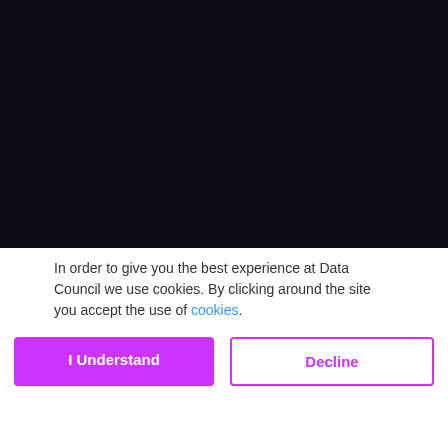[Figure (screenshot): Dark navy background area representing a website header or content area]
Tzu-Li (Gordon) Tai
In order to give you the best experience at Data Council we use cookies. By clicking around the site you accept the use of cookies.
I Understand
Decline